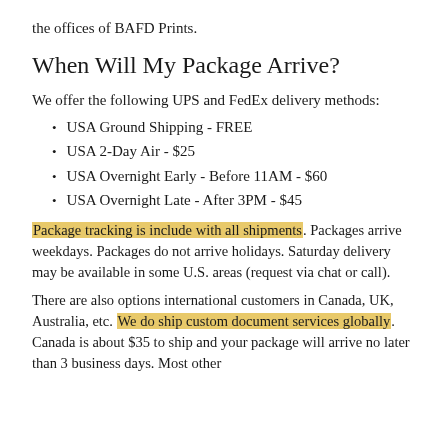the offices of BAFD Prints.
When Will My Package Arrive?
We offer the following UPS and FedEx delivery methods:
USA Ground Shipping - FREE
USA 2-Day Air - $25
USA Overnight Early - Before 11AM - $60
USA Overnight Late - After 3PM - $45
Package tracking is include with all shipments. Packages arrive weekdays. Packages do not arrive holidays. Saturday delivery may be available in some U.S. areas (request via chat or call).
There are also options international customers in Canada, UK, Australia, etc. We do ship custom document services globally. Canada is about $35 to ship and your package will arrive no later than 3 business days. Most other